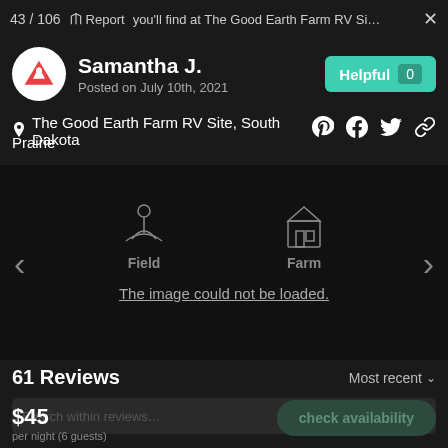43 / 106  Report  …you'll find at The Good Earth Farm RV Si…  ×
Samantha J.
Posted on July 10th, 2021
Helpful 0
The Good Earth Farm RV Site, South Dakota
Prairie
[Figure (screenshot): Image area with field icon on left and farm icon on right, with nav arrows. Text: 'The image could not be loaded.']
61 Reviews
Most recent
Search within reviews…
$45
per night (6 guests)
check availability